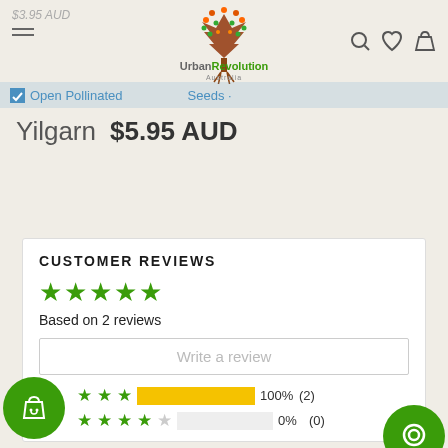Urban Revolution Australia - Open Pollinated Seeds
Yilgarn  $5.95 AUD
CUSTOMER REVIEWS
★★★★★ Based on 2 reviews
Write a review
★★★★★ 100% (2)
★★★★☆ 0% (0)